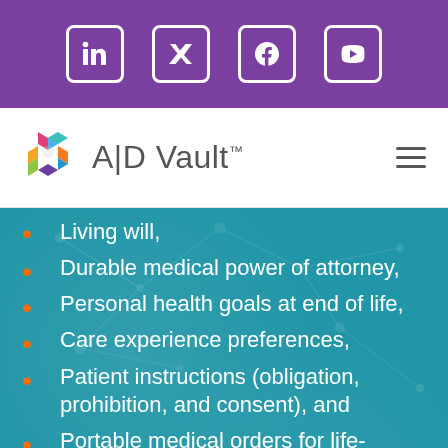[Figure (other): Purple social media bar with LinkedIn, Twitter, Facebook, and YouTube icons]
[Figure (logo): A|D Vault logo with colorful hexagonal icon and company name]
Living will,
Durable medical power of attorney,
Personal health goals at end of life,
Care experience preferences,
Patient instructions (obligation, prohibition, and consent), and
Portable medical orders for life-sustaining treatments.
Contact us to learn more about how we can put ADI with FHIR to work for your